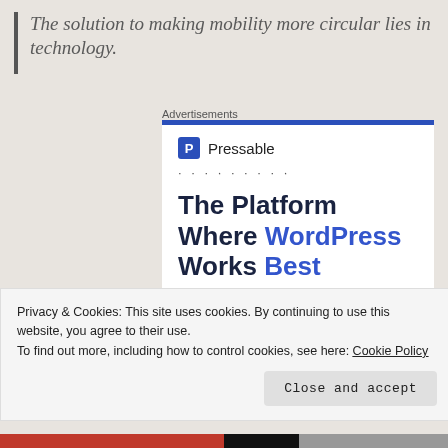The solution to making mobility more circular lies in technology.
Advertisements
[Figure (screenshot): Pressable advertisement showing logo with 'P' icon and text 'Pressable', dots separator, and headline 'The Platform Where WordPress Works Best' with 'WordPress' and 'Best' in blue]
Privacy & Cookies: This site uses cookies. By continuing to use this website, you agree to their use.
To find out more, including how to control cookies, see here: Cookie Policy
Close and accept